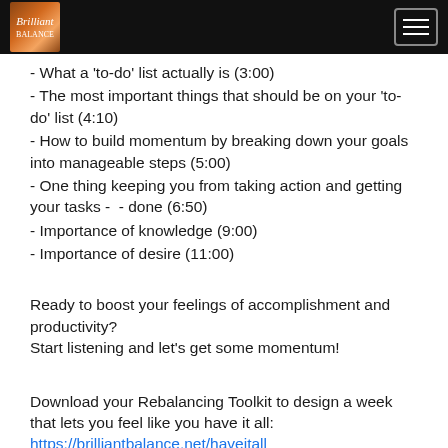Brilliant Balance
- What a 'to-do' list actually is (3:00)
- The most important things that should be on your 'to-do' list (4:10)
- How to build momentum by breaking down your goals into manageable steps (5:00)
- One thing keeping you from taking action and getting your tasks -  - done (6:50)
- Importance of knowledge (9:00)
- Importance of desire (11:00)
Ready to boost your feelings of accomplishment and productivity?
Start listening and let's get some momentum!
Download your Rebalancing Toolkit to design a week that lets you feel like you have it all:
https://brilliantbalance.net/haveitall
Join the Brilliant Balance Facebook Group: